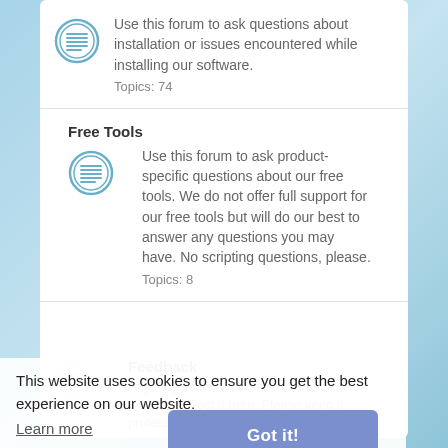[Figure (illustration): Forum icon - circle with horizontal lines representing a document/forum]
Use this forum to ask questions about installation or issues encountered while installing our software.
Topics: 74
Free Tools
[Figure (illustration): Forum icon - circle with horizontal lines representing a document/forum]
Use this forum to ask product-specific questions about our free tools. We do not offer full support for our free tools but will do our best to answer any questions you may have. No scripting questions, please.
Topics: 8
Feedback
[Figure (illustration): Forum icon - circle with horizontal lines]
Anything you want to tell us? Praise? Criticism? Post it here. Please keep it professional and constructive.
Topics: 54
This website uses cookies to ensure you get the best experience on our website.
Learn more
Got it!